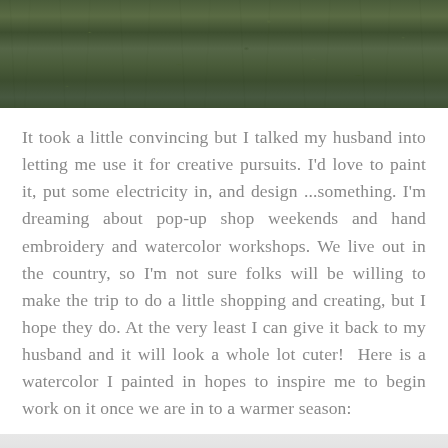[Figure (photo): Close-up photograph of grass or moss, dark green textured ground cover filling the entire frame]
It took a little convincing but I talked my husband into letting me use it for creative pursuits. I'd love to paint it, put some electricity in, and design ...something. I'm dreaming about pop-up shop weekends and hand embroidery and watercolor workshops. We live out in the country, so I'm not sure folks will be willing to make the trip to do a little shopping and creating, but I hope they do. At the very least I can give it back to my husband and it will look a whole lot cuter!  Here is a watercolor I painted in hopes to inspire me to begin work on it once we are in to a warmer season:
[Figure (photo): Watercolor painting on paper with handwritten text reading 'The Cottage Shop...' in casual handwriting]